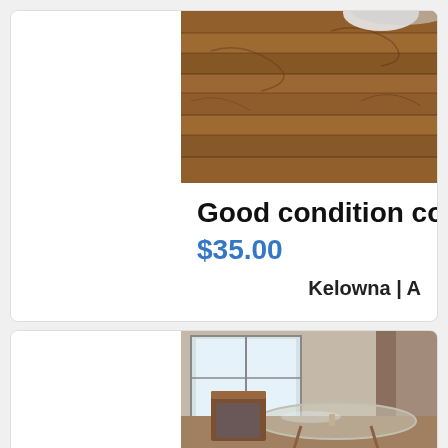[Figure (photo): Photo of wooden floor with a coffee table partially visible, top portion of a product listing image]
Good condition coffee tab
$35.00
Kelowna | A
[Figure (photo): Photo of a room with a glass-top coffee table, wooden furniture, window with curtains in the background]